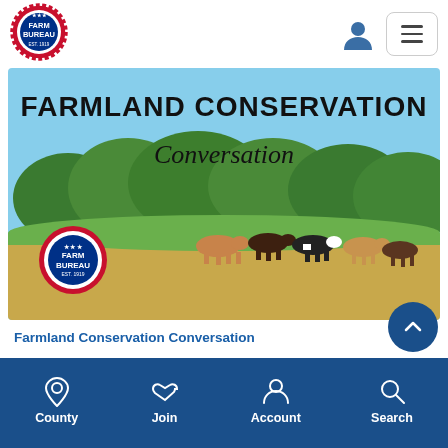[Figure (logo): Ohio Farm Bureau logo badge — circular red and blue badge with FARM BUREAU text]
[Figure (photo): Farmland Conservation Conversation banner image. Text overlay reads FARMLAND CONSERVATION in bold black and Conversation in cursive script. Photo shows cattle grazing in a green field with trees in background and blue sky. Farm Bureau logo badge in lower left corner.]
Farmland Conservation Conversation
The April 19 program will feature three speakers who will be presenting on different programs and tools available in Ohio to preserve farmland.
County  Join  Account  Search